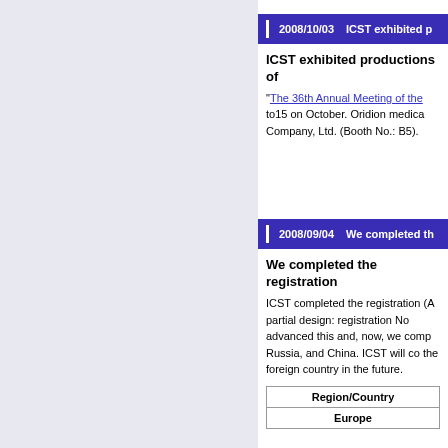2008/10/03   ICST exhibited p
ICST exhibited productions of
"The 36th Annual Meeting of the to15 on October. Oridion medica Company, Ltd. (Booth No.: B5).
2008/09/04   We completed th
We completed the registration
ICST completed the registration (A partial design: registration No advanced this and, now, we comp Russia, and China. ICST will co the foreign country in the future.
| Region/Country |
| --- |
| Europe |